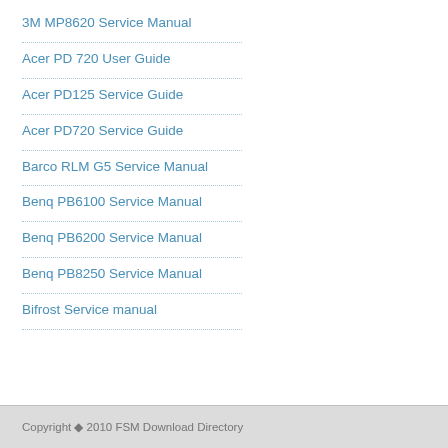3M MP8620 Service Manual
Acer PD 720 User Guide
Acer PD125 Service Guide
Acer PD720 Service Guide
Barco RLM G5 Service Manual
Benq PB6100 Service Manual
Benq PB6200 Service Manual
Benq PB8250 Service Manual
Bifrost Service manual
Copyright © 2010 FSM Download Directory